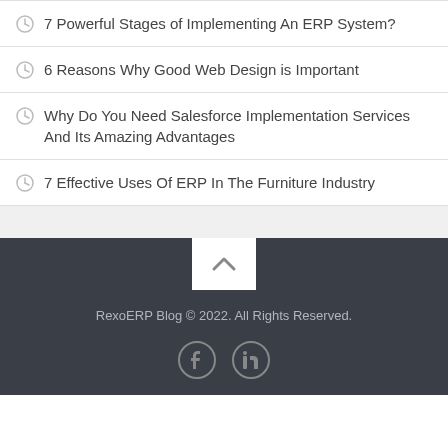7 Powerful Stages of Implementing An ERP System?
6 Reasons Why Good Web Design is Important
Why Do You Need Salesforce Implementation Services And Its Amazing Advantages
7 Effective Uses Of ERP In The Furniture Industry
RexoERP Blog © 2022. All Rights Reserved.